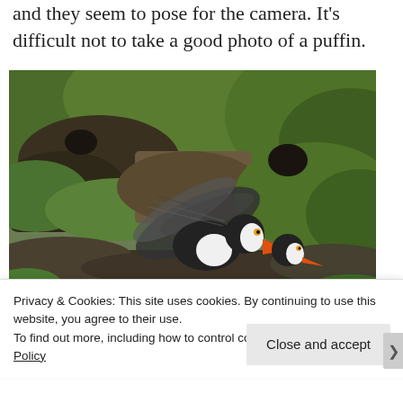and they seem to pose for the camera. It's difficult not to take a good photo of a puffin.
[Figure (photo): A puffin with black and white plumage and an orange beak in flight over mossy green rocky cliffs.]
Privacy & Cookies: This site uses cookies. By continuing to use this website, you agree to their use.
To find out more, including how to control cookies, see here: Cookie Policy
Close and accept